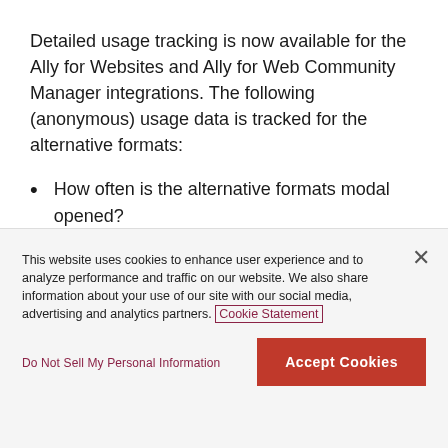Detailed usage tracking is now available for the Ally for Websites and Ally for Web Community Manager integrations. The following (anonymous) usage data is tracked for the alternative formats:
How often is the alternative formats modal opened?
How many alternative formats are downloaded?
This website uses cookies to enhance user experience and to analyze performance and traffic on our website. We also share information about your use of our site with our social media, advertising and analytics partners. Cookie Statement
Do Not Sell My Personal Information
Accept Cookies